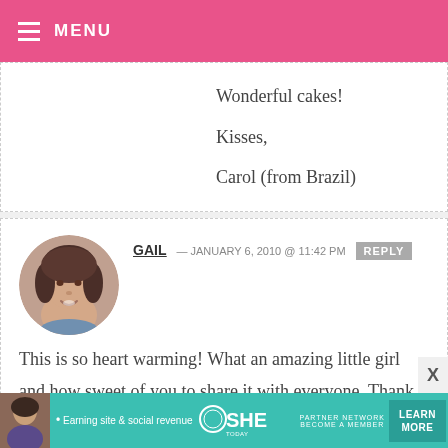MENU
Wonderful cakes!

Kisses,

Carol (from Brazil)
GAIL — JANUARY 6, 2010 @ 11:42 PM REPLY
This is so heart warming! What an amazing little girl and how sweet of you to share it with everyone. Thank you and God bless you both :)
[Figure (photo): Avatar photo of Gail, a woman with dark hair]
[Figure (infographic): SHE Partner Network advertisement banner — Earning site & social revenue — LEARN MORE — BECOME A MEMBER]